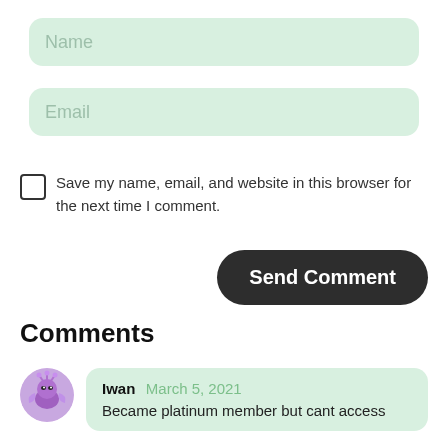[Figure (other): Name text input field with light green rounded background and gray placeholder text 'Name']
[Figure (other): Email text input field with light green rounded background and gray placeholder text 'Email']
Save my name, email, and website in this browser for the next time I comment.
[Figure (other): Dark rounded 'Send Comment' button]
Comments
Iwan March 5, 2021
Became platinum member but cant access